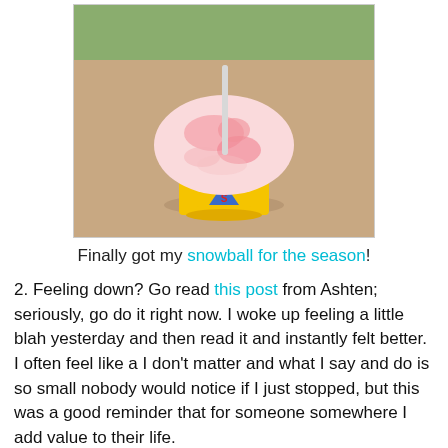[Figure (photo): A pink/red snowball (shaved ice) in a yellow cup with a straw, sitting on a wooden surface with a green wall in the background.]
Finally got my snowball for the season!
2. Feeling down? Go read this post from Ashten; seriously, go do it right now. I woke up feeling a little blah yesterday and then read it and instantly felt better. I often feel like a I don't matter and what I say and do is so small nobody would notice if I just stopped, but this was a good reminder that for someone somewhere I add value to their life.